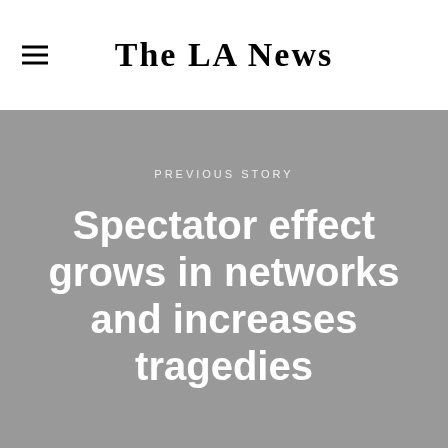The LA News
PREVIOUS STORY
Spectator effect grows in networks and increases tragedies